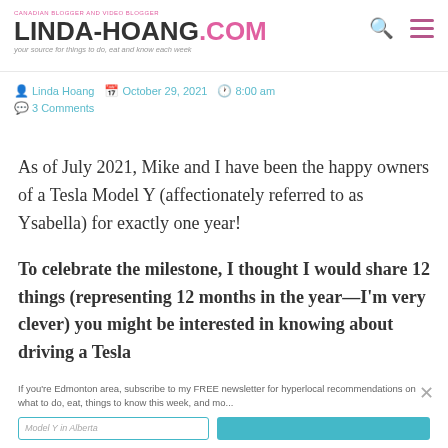CANADIAN BLOGGER AND VIDEO BLOGGER | LINDA-HOANG.COM | your source for things to do, eat and know each week
Linda Hoang  October 29, 2021  8:00 am  3 Comments
As of July 2021, Mike and I have been the happy owners of a Tesla Model Y (affectionately referred to as Ysabella) for exactly one year!
To celebrate the milestone, I thought I would share 12 things (representing 12 months in the year—I'm very clever) you might be interested in knowing about driving a Tesla Model Y in Alberta
If you're Edmonton area, subscribe to my FREE newsletter for hyperlocal recommendations on what to do, eat, things to know this week, and mo...